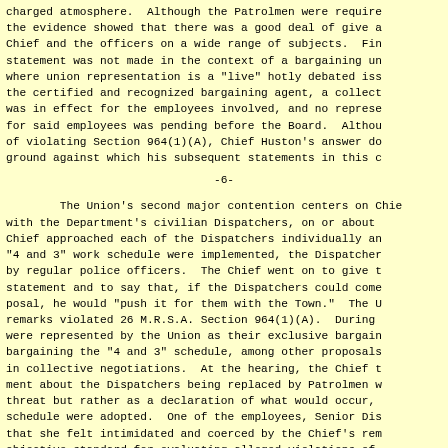charged atmosphere.  Although the Patrolmen were required the evidence showed that there was a good deal of give a Chief and the officers on a wide range of subjects.  Fin statement was not made in the context of a bargaining un where union representation is a "live" hotly debated iss the certified and recognized bargaining agent, a collect was in effect for the employees involved, and no represe for said employees was pending before the Board.  Althou of violating Section 964(1)(A), Chief Huston's answer do ground against which his subsequent statements in this c
-6-
The Union's second major contention centers on Chie with the Department's civilian Dispatchers, on or about Chief approached each of the Dispatchers individually an "4 and 3" work schedule were implemented, the Dispatcher by regular police officers.  The Chief went on to give t statement and to say that, if the Dispatchers could come posal, he would "push it for them with the Town."  The U remarks violated 26 M.R.S.A. Section 964(1)(A).  During were represented by the Union as their exclusive bargain bargaining the "4 and 3" schedule, among other proposals in collective negotiations.  At the hearing, the Chief t ment about the Dispatchers being replaced by Patrolmen w threat but rather as a declaration of what would occur, schedule were adopted.  One of the employees, Senior Dis that she felt intimidated and coerced by the Chief's rem objective standard for evaluating alleged violations of outlined at page 5 above, the Board holds that the Chief